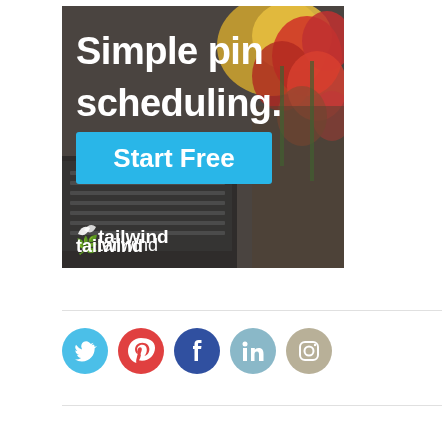[Figure (illustration): Tailwind ad banner: dark background with laptop keyboard and tulip flowers. Text reads 'Simple pin scheduling.' with a cyan 'Start Free' button and tailwind logo at bottom left.]
[Figure (infographic): Row of 5 social media icon circles: Twitter (cyan), Pinterest (red), Facebook (dark blue), LinkedIn (teal), Instagram (beige/grey)]